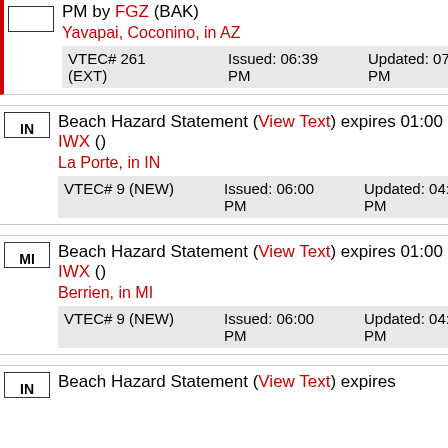PM by FGZ (BAK) Yavapai, Coconino, in AZ VTEC# 261 (EXT) Issued: 06:39 PM Updated: 07:49 PM
IN Beach Hazard Statement (View Text) expires 01:00 PM by IWX () La Porte, in IN VTEC# 9 (NEW) Issued: 06:00 PM Updated: 04:45 PM
MI Beach Hazard Statement (View Text) expires 01:00 PM by IWX () Berrien, in MI VTEC# 9 (NEW) Issued: 06:00 PM Updated: 04:45 PM
IN Beach Hazard Statement (View Text) expires